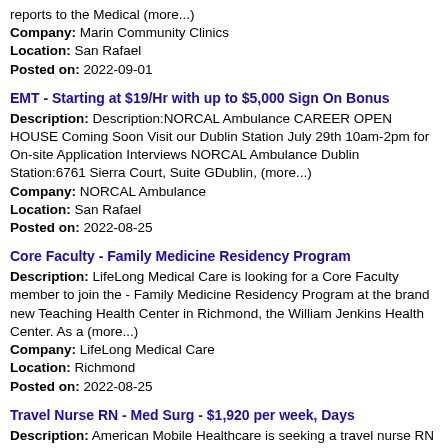reports to the Medical (more...)
Company: Marin Community Clinics
Location: San Rafael
Posted on: 2022-09-01
EMT - Starting at $19/Hr with up to $5,000 Sign On Bonus
Description: Description:NORCAL Ambulance CAREER OPEN HOUSE Coming Soon Visit our Dublin Station July 29th 10am-2pm for On-site Application Interviews NORCAL Ambulance Dublin Station:6761 Sierra Court, Suite GDublin, (more...)
Company: NORCAL Ambulance
Location: San Rafael
Posted on: 2022-08-25
Core Faculty - Family Medicine Residency Program
Description: LifeLong Medical Care is looking for a Core Faculty member to join the - Family Medicine Residency Program at the brand new Teaching Health Center in Richmond, the William Jenkins Health Center. As a (more...)
Company: LifeLong Medical Care
Location: Richmond
Posted on: 2022-08-25
Travel Nurse RN - Med Surg - $1,920 per week, Days
Description: American Mobile Healthcare is seeking a travel nurse RN Med Surg for a travel nursing job in Richmond, California.Job Description Requirements ul li Specialty: Med Surg li Discipline: RN li (more...)